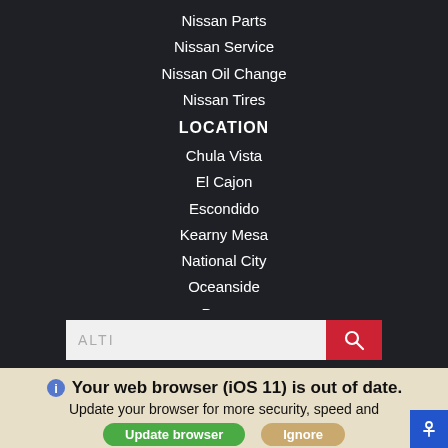Nissan Parts
Nissan Service
Nissan Oil Change
Nissan Tires
LOCATION
Chula Vista
El Cajon
Escondido
Kearny Mesa
National City
Oceanside
Poway
ALTI (search input)
Connect with us
Your web browser (iOS 11) is out of date. Update your browser for more security, speed and the best experience on this site.